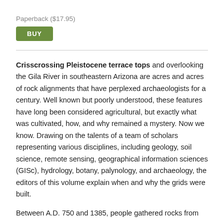Paperback ($17.95)
BUY
Crisscrossing Pleistocene terrace tops and overlooking the Gila River in southeastern Arizona are acres and acres of rock alignments that have perplexed archaeologists for a century. Well known but poorly understood, these features have long been considered agricultural, but exactly what was cultivated, how, and why remained a mystery. Now we know. Drawing on the talents of a team of scholars representing various disciplines, including geology, soil science, remote sensing, geographical information sciences (GISc), hydrology, botany, palynology, and archaeology, the editors of this volume explain when and why the grids were built.
Between A.D. 750 and 1385, people gathered rocks from